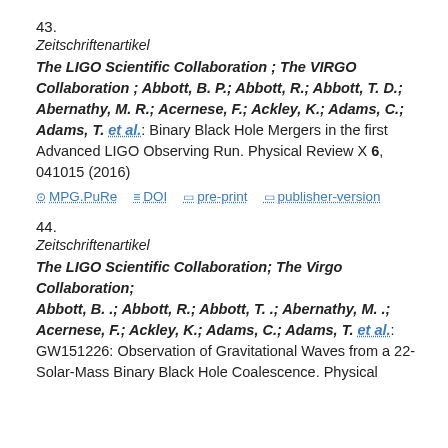43.
Zeitschriftenartikel
The LIGO Scientific Collaboration ; The VIRGO Collaboration ; Abbott, B. P.; Abbott, R.; Abbott, T. D.; Abernathy, M. R.; Acernese, F.; Ackley, K.; Adams, C.; Adams, T. et al.: Binary Black Hole Mergers in the first Advanced LIGO Observing Run. Physical Review X 6, 041015 (2016)
MPG.PuRe   DOI   pre-print   publisher-version
44.
Zeitschriftenartikel
The LIGO Scientific Collaboration; The Virgo Collaboration; Abbott, B. .; Abbott, R.; Abbott, T. .; Abernathy, M. .; Acernese, F.; Ackley, K.; Adams, C.; Adams, T. et al.: GW151226: Observation of Gravitational Waves from a 22-Solar-Mass Binary Black Hole Coalescence. Physical